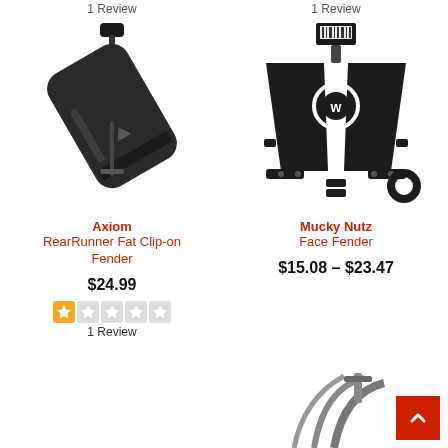1 Review
1 Review
[Figure (photo): Axiom RearRunner Fat Clip-on Fender product photo — black bicycle rear fender with mounting hardware]
Axiom
RearRunner Fat Clip-on Fender
$24.99
1 Review
[Figure (photo): Mucky Nutz Face Fender product photo — black trapezoidal front fender with white center stripe and mounting hardware]
Mucky Nutz
Face Fender
$15.08 – $23.47
[Figure (photo): Partial product photo at bottom right — appears to be a bicycle fender, partially visible]